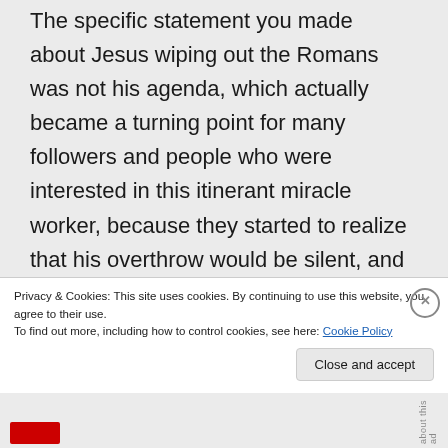The specific statement you made about Jesus wiping out the Romans was not his agenda, which actually became a turning point for many followers and people who were interested in this itinerant miracle worker, because they started to realize that his overthrow would be silent, and start in
Privacy & Cookies: This site uses cookies. By continuing to use this website, you agree to their use.
To find out more, including how to control cookies, see here: Cookie Policy
Close and accept